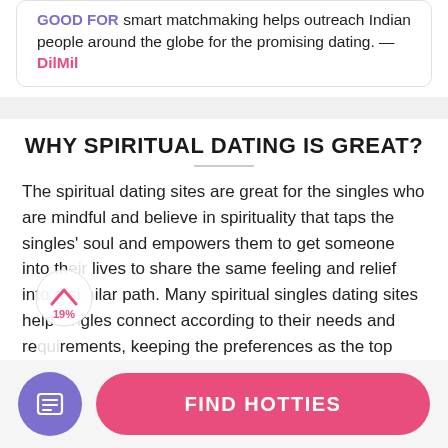GOOD FOR smart matchmaking helps outreach Indian people around the globe for the promising dating. — DilMil
WHY SPIRITUAL DATING IS GREAT?
The spiritual dating sites are great for the singles who are mindful and believe in spirituality that taps the singles' soul and empowers them to get someone into their lives to share the same feeling and relief into a similar path. Many spiritual singles dating sites help singles connect according to their needs and requirements, keeping the preferences as the top priority. The singles fill the information regarding their